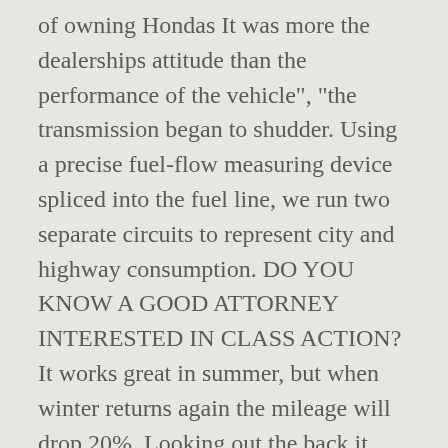of owning Hondas It was more the dealerships attitude than the performance of the vehicle", "the transmission began to shudder. Using a precise fuel-flow measuring device spliced into the fuel line, we run two separate circuits to represent city and highway consumption. DO YOU KNOW A GOOD ATTORNEY INTERESTED IN CLASS ACTION? It works great in summer, but when winter returns again the mileage will drop 20%. Looking out the back it looks like the view is distorted like in the desert with air refraction. It took dealer and Honda multiple visits to troubleshoot. ", "Heater does not work except at maximum heat", "In sustained driving in